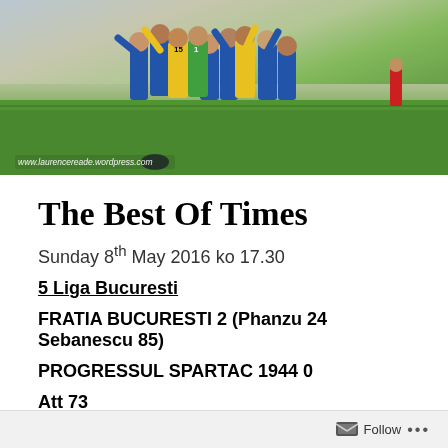[Figure (photo): Football players celebrating on a green grass pitch, wearing yellow and blue jerseys. One player wears number 15, another wears number 1 (goalkeeper). Watermark: www.laurencereade.wordpress.com]
The Best Of Times
Sunday 8th May 2016 ko 17.30
5 Liga Bucuresti
FRATIA BUCURESTI 2 (Phanzu 24 Sebanescu 85)
PROGRESSUL SPARTAC 1944 0
Att 73
Follow